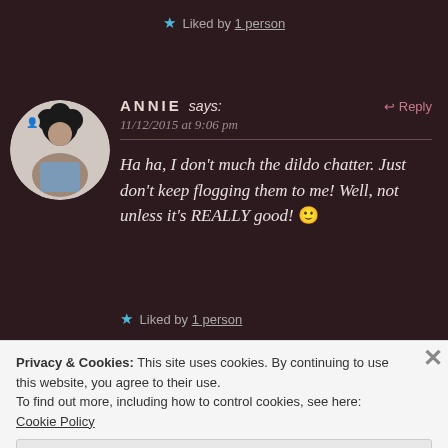★ Liked by 1 person
ANNIE says:
11/12/2015 at 9:06 pm
Reply
Ha ha, I don't much the dildo chatter. Just don't keep flogging them to me! Well, not unless it's REALLY good! 🙂
★ Liked by 1 person
Privacy & Cookies: This site uses cookies. By continuing to use this website, you agree to their use.
To find out more, including how to control cookies, see here: Cookie Policy
Close and accept